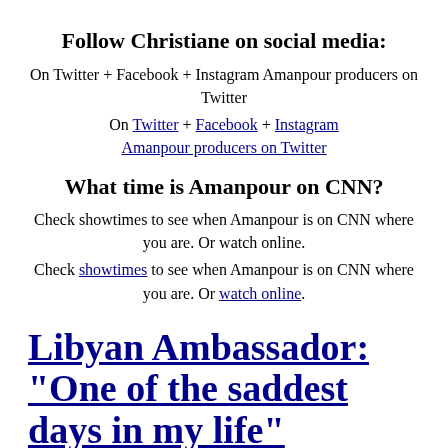Follow Christiane on social media:
On Twitter + Facebook + Instagram Amanpour producers on Twitter
On Twitter + Facebook + Instagram Amanpour producers on Twitter
What time is Amanpour on CNN?
Check showtimes to see when Amanpour is on CNN where you are. Or watch online.
Check showtimes to see when Amanpour is on CNN where you are. Or watch online.
Libyan Ambassador: "One of the saddest days in my life"